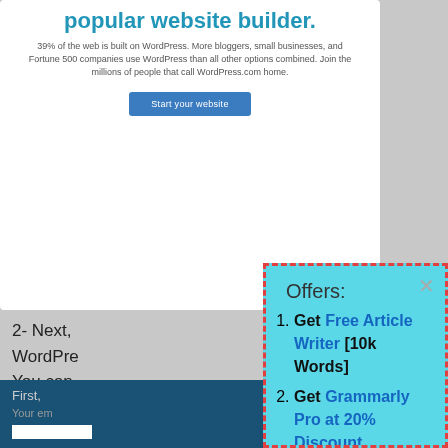popular website builder.
39% of the web is built on WordPress. More bloggers, small businesses, and Fortune 500 companies use WordPress than all other options combined. Join the millions of people that call WordPress.com home.
Start your website
2- Next, WordPre... You can ... and App...
First,
Your em...
Offers:
Get Free Article Writer [10k Words]
Get Grammarly Pro at 20% Discount
Hostinger Hosting @ 80% Discount
Get The Best Cache Plugin